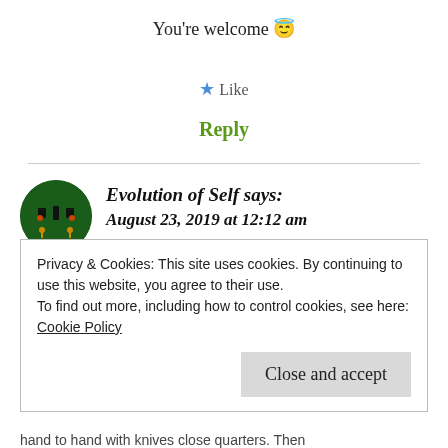You're welcome 😇
★ Like
Reply
Evolution of Self says:
August 23, 2019 at 12:12 am
Chocoviv
Privacy & Cookies: This site uses cookies. By continuing to use this website, you agree to their use.
To find out more, including how to control cookies, see here: Cookie Policy
Close and accept
hand to hand with knives close quarters. Then